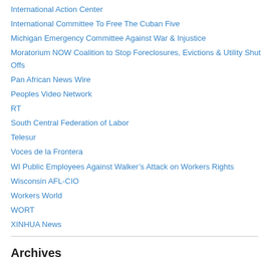International Action Center
International Committee To Free The Cuban Five
Michigan Emergency Committee Against War & Injustice
Moratorium NOW Coalition to Stop Foreclosures, Evictions & Utility Shut Offs
Pan African News Wire
Peoples Video Network
RT
South Central Federation of Labor
Telesur
Voces de la Frontera
WI Public Employees Against Walker's Attack on Workers Rights
Wisconsin AFL-CIO
Workers World
WORT
XINHUA News
Archives